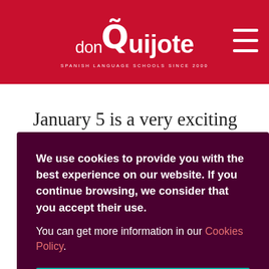donQuijote — Spanish Language Schools — Since 2000
January 5 is a very exciting day for the youngest ...afternoon, each ...ch large floats ...musicians, ...t importantly, ...gs), who wave ...he parade, ...nner so the ...leave them in ...Tres Reyes ...urs of the ...e the presents
We use cookies to provide you with the best experience on our website. If you continue browsing, we consider that you accept their use.
You can get more information in our Cookies Policy.
ACCEPT